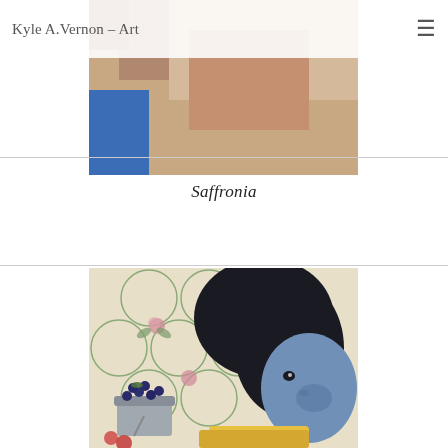Kyle A.Vernon – Art
[Figure (photo): Partial top portion of an artwork showing a person in a blue garment with skin tones visible, cropped near top of the page]
Saffronia
[Figure (photo): Detail of a painting titled Saffronia showing a young girl's face in blue tones in profile, with floral wallpaper background featuring circular vine patterns and pink roses, and a metal bucket of blueberries in the lower left, and what appears to be yellow food in the lower right]